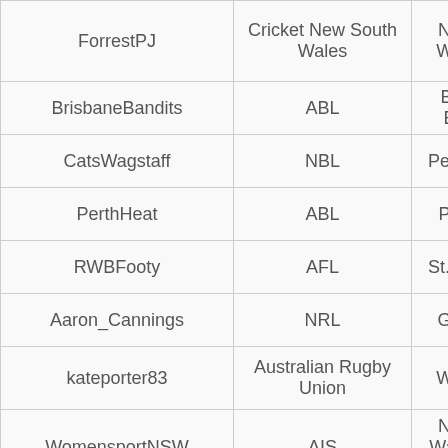| Username | League/Organisation | Team (truncated) |
| --- | --- | --- |
| ForrestPJ | Cricket New South Wales | Ne... Wa... |
| BrisbaneBandits | ABL | Br... B... |
| CatsWagstaff | NBL | Perth... |
| PerthHeat | ABL | Pe... |
| RWBFooty | AFL | St. Ki... |
| Aaron_Cannings | NRL | Go... |
| kateporter83 | Australian Rugby Union | Wa... |
| WomensportNSW | AIS | Ne... Wale... o... |
| SWSRockets | Australia Roller Derby | SWS... |